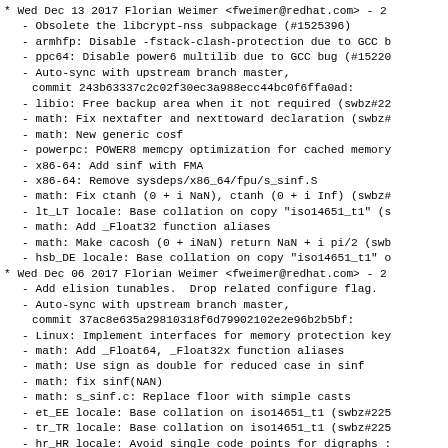* Wed Dec 13 2017 Florian Weimer <fweimer@redhat.com> - 2
- Obsolete the libcrypt-nss subpackage (#1525396)
- armhfp: Disable -fstack-clash-protection due to GCC b
- ppc64: Disable power6 multilib due to GCC bug (#15226
- Auto-sync with upstream branch master,
      commit 243b63337c2c02f30ec3a988ecc44bc0f6ffa0ad:
- libio: Free backup area when it not required (swbz#22
- math: Fix nextafter and nexttoward declaration (swbz#
- math: New generic cosf
- powerpc: POWER8 memcpy optimization for cached memory
- x86-64: Add sinf with FMA
- x86-64: Remove sysdeps/x86_64/fpu/s_sinf.S
- math: Fix ctanh (0 + i NaN), ctanh (0 + i Inf) (swbz#
- lt_LT locale: Base collation on copy "iso14651_t1" (s
- math: Add _Float32 function aliases
- math: Make cacosh (0 + iNaN) return NaN + i pi/2 (swb
- hsb_DE locale: Base collation on copy "iso14651_t1" o
* Wed Dec 06 2017 Florian Weimer <fweimer@redhat.com> - 2
- Add elision tunables.  Drop related configure flag.
- Auto-sync with upstream branch master,
      commit 37ac8e635a29810318f6d79902102e2e96b2b5bf:
- Linux: Implement interfaces for memory protection key
- math: Add _Float64, _Float32x function aliases
- math: Use sign as double for reduced case in sinf
- math: fix sinf(NAN)
- math: s_sinf.c: Replace floor with simple casts
- et_EE locale: Base collation on iso14651_t1 (swbz#225
- tr_TR locale: Base collation on iso14651_t1 (swbz#225
- hr_HR locale: Avoid single code points for digraphs :
- S390: Fix backtrace in vdso functions